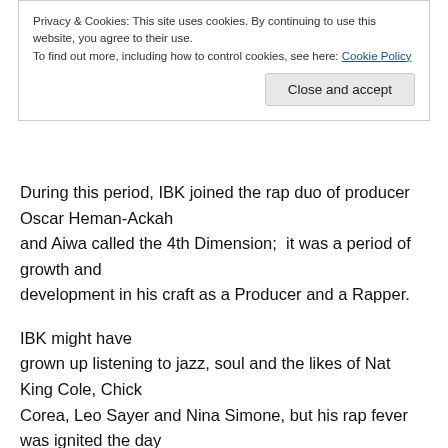Privacy & Cookies: This site uses cookies. By continuing to use this website, you agree to their use.
To find out more, including how to control cookies, see here: Cookie Policy
Close and accept
During this period, IBK joined the rap duo of producer Oscar Heman-Ackah and Aiwa called the 4th Dimension;  it was a period of growth and development in his craft as a Producer and a Rapper.
IBK might have grown up listening to jazz, soul and the likes of Nat King Cole, Chick Corea, Leo Sayer and Nina Simone, but his rap fever was ignited the day he was introduced to the duo Kriss Kross back in the 90's.